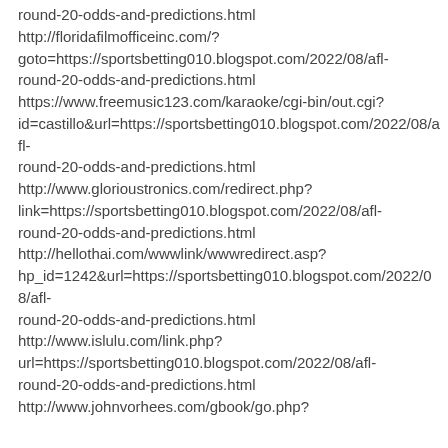round-20-odds-and-predictions.html
http://floridafilmofficeinc.com/?goto=https://sportsbetting010.blogspot.com/2022/08/afl-round-20-odds-and-predictions.html
https://www.freemusic123.com/karaoke/cgi-bin/out.cgi?id=castillo&url=https://sportsbetting010.blogspot.com/2022/08/afl-round-20-odds-and-predictions.html
http://www.glorioustronics.com/redirect.php?link=https://sportsbetting010.blogspot.com/2022/08/afl-round-20-odds-and-predictions.html
http://hellothai.com/wwwlink/wwwredirect.asp?hp_id=1242&url=https://sportsbetting010.blogspot.com/2022/08/afl-round-20-odds-and-predictions.html
http://www.islulu.com/link.php?url=https://sportsbetting010.blogspot.com/2022/08/afl-round-20-odds-and-predictions.html
http://www.johnvorhees.com/gbook/go.php?